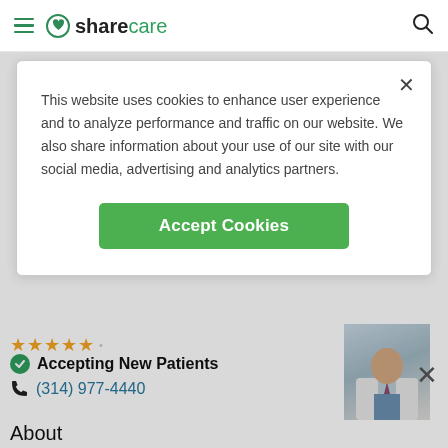sharecare
This website uses cookies to enhance user experience and to analyze performance and traffic on our website. We also share information about your use of our site with our social media, advertising and analytics partners.
Accept Cookies
Accepting New Patients
(314) 977-4440
[Figure (photo): Doctor in white coat with tie, headshot]
About
Dr. Eddy Hsueh, MD is a surgical oncology specialist in Fenton, MO. Dr. Hsueh completed a residency at